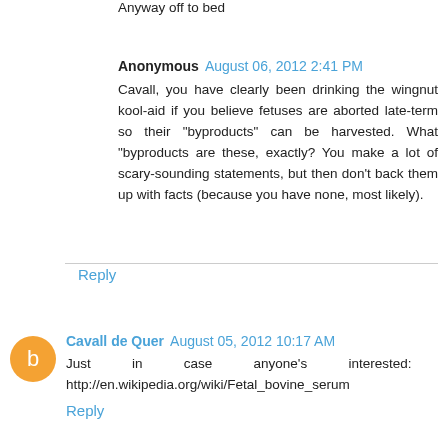Anyway off to bed
Anonymous  August 06, 2012 2:41 PM
Cavall, you have clearly been drinking the wingnut kool-aid if you believe fetuses are aborted late-term so their "byproducts" can be harvested. What "byproducts are these, exactly? You make a lot of scary-sounding statements, but then don't back them up with facts (because you have none, most likely).
Reply
Cavall de Quer  August 05, 2012 10:17 AM
Just in case anyone's interested: http://en.wikipedia.org/wiki/Fetal_bovine_serum
Reply